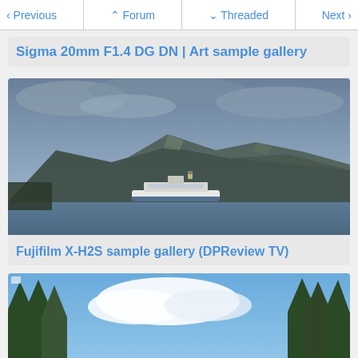Previous | Forum | Threaded | Next
Sigma 20mm F1.4 DG DN | Art sample gallery
[Figure (photo): Landscape photograph of a ferry boat on calm water with mountains in the background under overcast cloudy skies]
Fujifilm X-H2S sample gallery (DPReview TV)
[Figure (photo): Partial photograph showing tall evergreen trees in the foreground against a blue sky with white clouds]